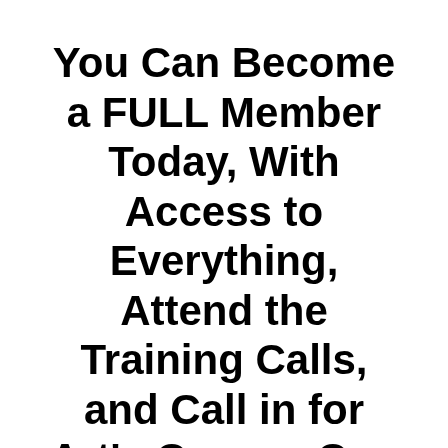You Can Become a FULL Member Today, With Access to Everything, Attend the Training Calls, and Call in for Art's One-on-One Coaching, for Just